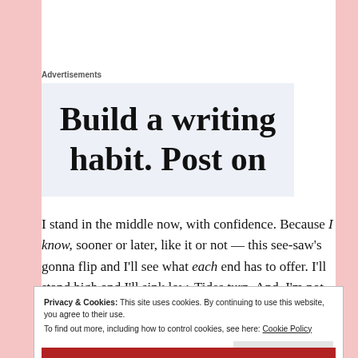Advertisements
[Figure (other): Advertisement banner with large serif text reading 'Build a writing habit. Post on' on a light blue-grey background, text is partially cropped]
I stand in the middle now, with confidence. Because I know, sooner or later, like it or not — this see-saw's gonna flip and I'll see what each end has to offer. I'll stand high and I'll sink low. Tides turn. And, I'm not afraid of the change anymore.
Privacy & Cookies: This site uses cookies. By continuing to use this website, you agree to their use. To find out more, including how to control cookies, see here: Cookie Policy